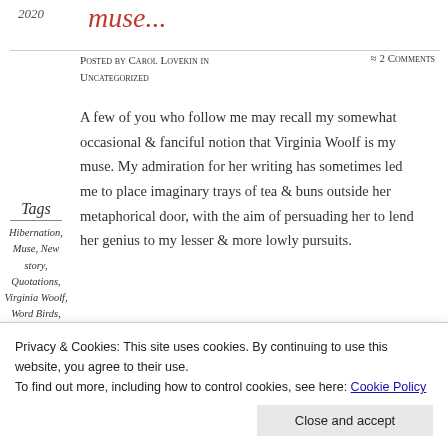2020
muse...
Posted by Carol Lovekin in Uncategorized
≈ 2 Comments
Tags
Hibernation, Muse, New story, Quotations, Virginia Woolf, Word Birds,
A few of you who follow me may recall my somewhat occasional & fanciful notion that Virginia Woolf is my muse. My admiration for her writing has sometimes led me to place imaginary trays of tea & buns outside her metaphorical door, with the aim of persuading her to lend her genius to my lesser & more lowly pursuits.
[Figure (photo): Black and white photograph, partially visible at bottom of page]
Privacy & Cookies: This site uses cookies. By continuing to use this website, you agree to their use. To find out more, including how to control cookies, see here: Cookie Policy
Close and accept